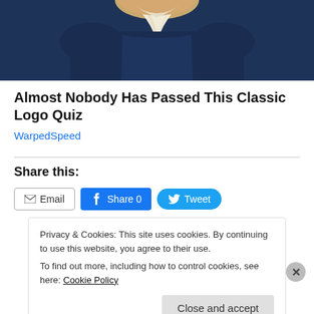[Figure (illustration): Partial illustration of a person in a dark navy outfit with a white cravat/collar, resembling a historical figure, cropped at the torso and head.]
Almost Nobody Has Passed This Classic Logo Quiz
WarpedSpeed
Share this:
Email  Share 0  Tweet
Privacy & Cookies: This site uses cookies. By continuing to use this website, you agree to their use.
To find out more, including how to control cookies, see here: Cookie Policy
Close and accept